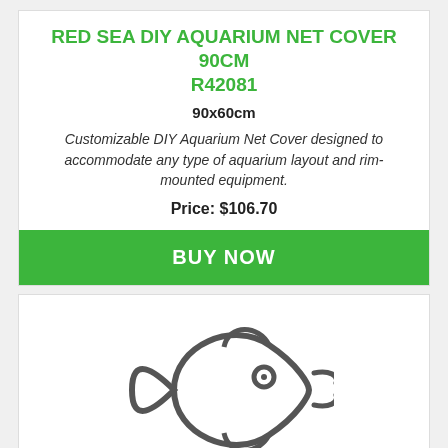RED SEA DIY AQUARIUM NET COVER 90CM R42081
90x60cm
Customizable DIY Aquarium Net Cover designed to accommodate any type of aquarium layout and rim-mounted equipment.
Price: $106.70
BUY NOW
[Figure (illustration): Fish icon illustration — outline drawing of a fish facing left with fins and a small circular eye]
HIKARI SINKING CARNIVORE PELLETS 74G